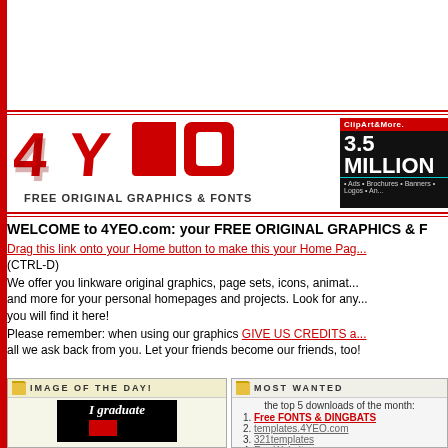[Figure (logo): 4YEO logo in red 3D letters with text FREE ORIGINAL GRAPHICS & FONTS below]
[Figure (infographic): ClipArt&More ad banner showing 3.5 MILLION with Ads, Brochures, Banners, Logos tags]
WELCOME to 4YEO.com: your FREE ORIGINAL GRAPHICS & F
Drag this link onto your Home button to make this your Home Page (CTRL-D)
We offer you linkware original graphics, page sets, icons, animations and more for your personal homepages and projects. Look for anything, you will find it here!
Please remember: when using our graphics GIVE US CREDITS and a link, that's all we ask back from you. Let your friends become our friends, too!
[Figure (photo): Image of the Day panel showing graduation image with text I graduate]
1. Free FONTS & DINGBATS
2. templates.4YEO.com
3. 321templates
4. Ezy Websites
5. Animations